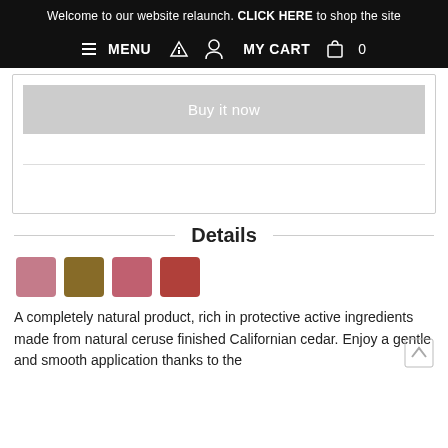Welcome to our website relaunch. CLICK HERE to shop the site
≡ MENU  🏠  👤  MY CART  🛍  0
[Figure (screenshot): Buy it now button (greyed out)]
Details
[Figure (other): Four color swatches: pink, brown, mauve, red]
A completely natural product, rich in protective active ingredients made from natural ceruse finished Californian cedar. Enjoy a gentle and smooth application thanks to the